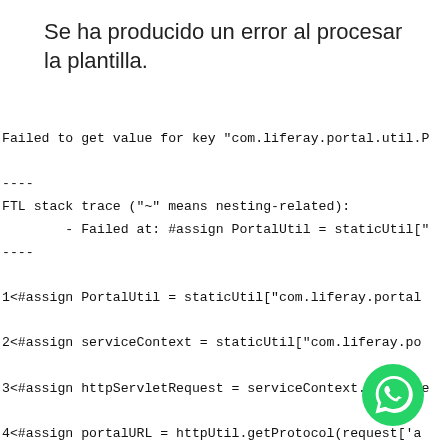Se ha producido un error al procesar la plantilla.
Failed to get value for key "com.liferay.portal.util.P
----
FTL stack trace ("~" means nesting-related):
        - Failed at: #assign PortalUtil = staticUtil["
----
1<#assign PortalUtil = staticUtil["com.liferay.portal
2<#assign serviceContext = staticUtil["com.liferay.po
3<#assign httpServletRequest = serviceContext.getRequ
4<#assign portalURL = httpUtil.getProtocol(request['a
5<#assign mainPath = getterUtil.getString(reque...['th
6
[Figure (logo): WhatsApp green phone icon circle logo]